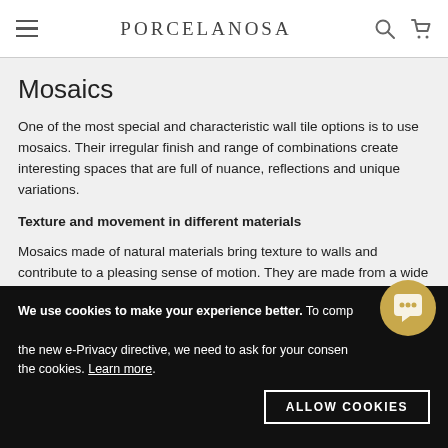PORCELANOSA
Mosaics
One of the most special and characteristic wall tile options is to use mosaics. Their irregular finish and range of combinations create interesting spaces that are full of nuance, reflections and unique variations.
Texture and movement in different materials
Mosaics made of natural materials bring texture to walls and contribute to a pleasing sense of motion. They are made from a wide range of materials, selected from the best and most
We use cookies to make your experience better. To comply with the new e-Privacy directive, we need to ask for your consent to the cookies. Learn more.